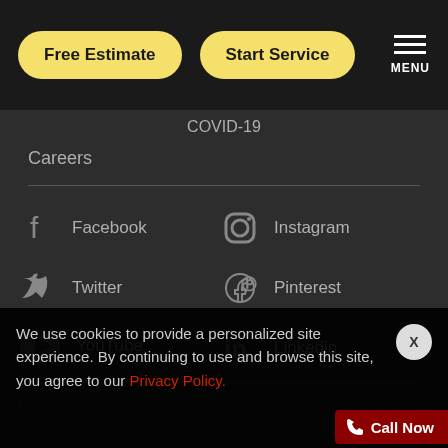Free Estimate | Start Service | MENU
COVID-19
Careers
Facebook
Instagram
Twitter
Pinterest
YouTube
Linkedin
We use cookies to provide a personalized site experience. By continuing to use and browse this site, you agree to our Privacy Policy.